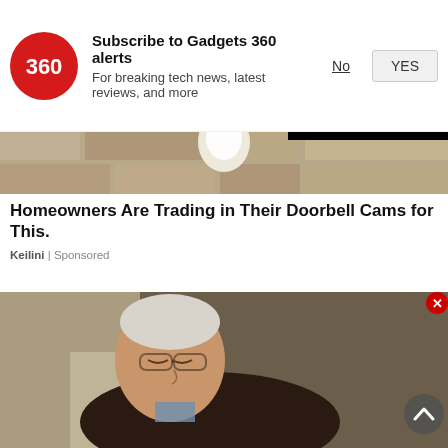[Figure (logo): Gadgets 360 red circular logo with '360' text]
Subscribe to Gadgets 360 alerts
For breaking tech news, latest reviews, and more
No   YES
[Figure (photo): Close-up of stone/concrete wall with light bulb fixture]
Homeowners Are Trading in Their Doorbell Cams for This.
Keilini | Sponsored
[Figure (photo): Elderly man sleeping in armchair with crossed arms, wearing dark sweater and plaid shirt]
[Figure (screenshot): Black video player overlay with red play button circle]